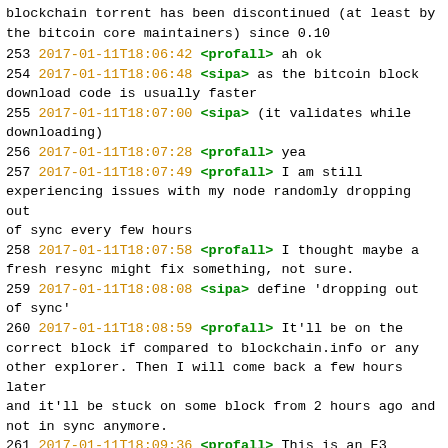blockchain torrent has been discontinued (at least by the bitcoin core maintainers) since 0.10
253 2017-01-11T18:06:42 <profall> ah ok
254 2017-01-11T18:06:48 <sipa> as the bitcoin block download code is usually faster
255 2017-01-11T18:07:00 <sipa> (it validates while downloading)
256 2017-01-11T18:07:28 <profall> yea
257 2017-01-11T18:07:49 <profall> I am still experiencing issues with my node randomly dropping out of sync every few hours
258 2017-01-11T18:07:58 <profall> I thought maybe a fresh resync might fix something, not sure.
259 2017-01-11T18:08:08 <sipa> define 'dropping out of sync'
260 2017-01-11T18:08:59 <profall> It'll be on the correct block if compared to blockchain.info or any other explorer. Then I will come back a few hours later and it'll be stuck on some block from 2 hours ago and not in sync anymore.
261 2017-01-11T18:09:36 <profall> This is an E3 processor, 100mbps connection in a datacenter, 16GB ram server. Not resource starved.
262 2017-01-11T18:10:12 <sipa> anything in debug.log?
263 2017-01-11T18:11:37 <profall> ping timeout 1200s
264 2017-01-11T18:11:58 <profall> socket recv error Connection reset by peer (104)
265 2017-01-11T18:12:05 <sipa> that's normal